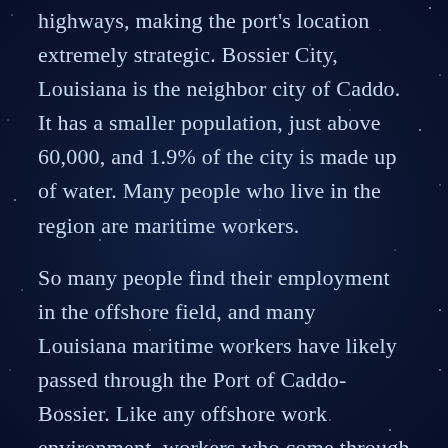highways, making the port's location extremely strategic. Bossier City, Louisiana is the neighbor city of Caddo. It has a smaller population, just above 60,000, and 1.9% of the city is made up of water. Many people who live in the region are maritime workers.
So many people find their employment in the offshore field, and many Louisiana maritime workers have likely passed through the Port of Caddo-Bossier. Like any offshore work environment, workers who come through this port can face a number of different risk factors. As a maritime worker, if you are hurt in or near the Port of Caddo-Bossier, you are entitled to specific legal protections.